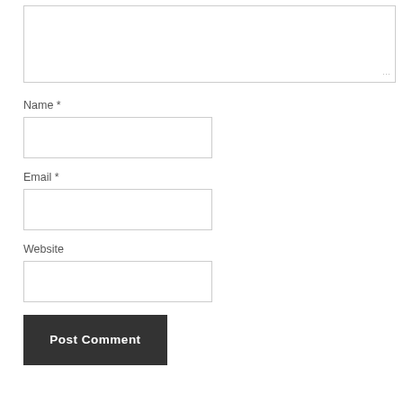[Figure (screenshot): A textarea form field (empty, with resize handle at bottom-right)]
Name *
[Figure (screenshot): A text input field for Name (empty)]
Email *
[Figure (screenshot): A text input field for Email (empty)]
Website
[Figure (screenshot): A text input field for Website (empty)]
Post Comment